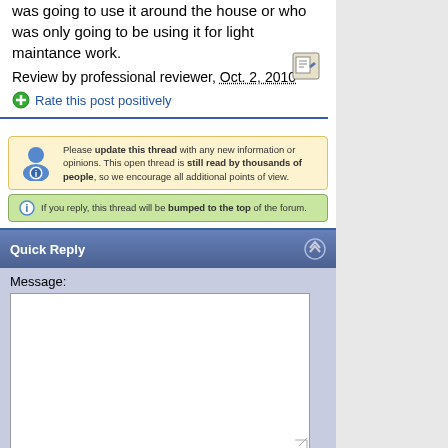was going to use it around the house or who was only going to be using it for light maintance work.
Review by professional reviewer, Oct. 2, 2010
Rate this post positively
Please update this thread with any new information or opinions. This open thread is still read by thousands of people, so we encourage all additional points of view.
If you reply, this thread will be bumped to the top of the forum.
Quick Reply
Message:
Post Quick Reply